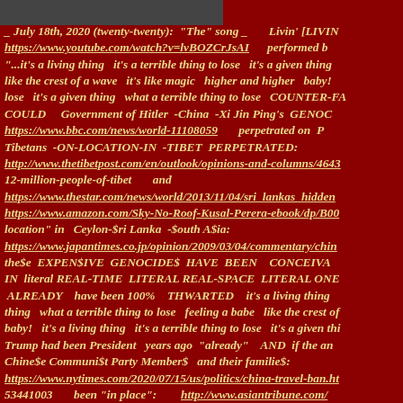[Figure (photo): Partial image at top of page, cropped person visible]
_ July 18th, 2020 (twenty-twenty): "The" song _ Livin' [LIVIN https://www.youtube.com/watch?v=lvBOZCrJsAI performed b "...it's a living thing it's a terrible thing to lose it's a given thing like the crest of a wave it's like magic higher and higher baby! lose it's a given thing what a terrible thing to lose COUNTER-FA COULD Government of Hitler -China -Xi Jin Ping's GENOC https://www.bbc.com/news/world-11108059 perpetrated on P Tibetans -ON-LOCATION-IN -TIBET PERPETRATED: http://www.thetibetpost.com/en/outlook/opinions-and-columns/4643 12-million-people-of-tibet and https://www.thestar.com/news/world/2013/11/04/sri_lankas_hidden https://www.amazon.com/Sky-No-Roof-Kusal-Perera-ebook/dp/B00 location" in Ceylon-$ri Lanka -$outh A$ia: https://www.japantimes.co.jp/opinion/2009/03/04/commentary/chin the$e EXPEN$IVE GENOCIDE$ HAVE BEEN CONCEIVA IN literal REAL-TIME LITERAL REAL-SPACE LITERAL ONE ALREADY have been 100% THWARTED it's a living thing thing what a terrible thing to lose feeling a babe like the crest of baby! it's a living thing it's a terrible thing to lose it's a given thi Trump had been President years ago "already" AND if the an Chine$e Communi$t Party Member$ and their familie$: https://www.nytimes.com/2020/07/15/us/politics/china-travel-ban.ht 53441003 been "in place": http://www.asiantribune.com/ TWO-THOU$AND+N-ai-ai-INE [2009]: https://www.channel